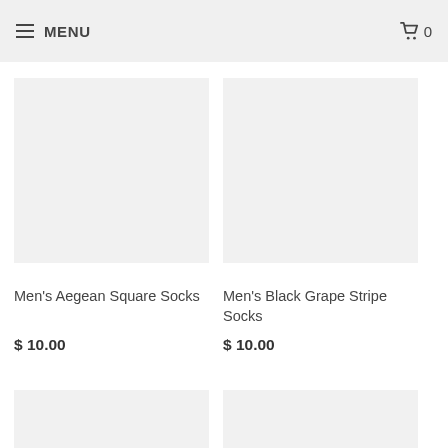≡ MENU   🛒 0
are sure it will be your sweet and comfortable under your shoes!
[Figure (photo): Product image placeholder for Men's Aegean Square Socks]
Men's Aegean Square Socks
$ 10.00
[Figure (photo): Product image placeholder for Men's Black Grape Stripe Socks]
Men's Black Grape Stripe Socks
$ 10.00
[Figure (photo): Product image placeholder (bottom left, partially visible)]
[Figure (photo): Product image placeholder (bottom right, partially visible)]